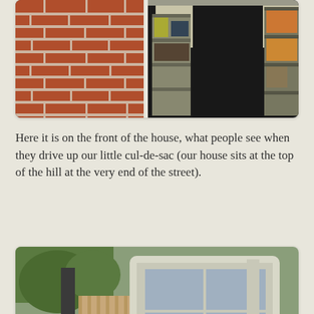[Figure (photo): Two-panel photo: left panel shows red brick exterior wall of a house; right panel shows interior of a dark garage with metal shelving units holding boxes and items.]
Here it is on the front of the house, what people see when they drive up our little cul-de-sac (our house sits at the top of the hill at the very end of the street).
[Figure (photo): Close-up photo of the exterior front of a house showing fresh olive/sage green painted stucco siding with white window trim and white downspout/rain gutter, brick foundation visible at bottom, trees and wooden fence visible in background.]